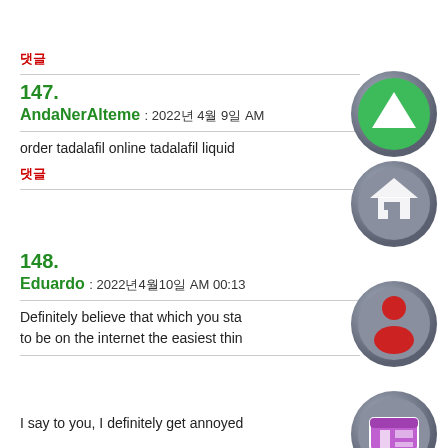댓글
147.
AndaNerAlteme : 2022년 4월 9일 AM
order tadalafil online tadalafil liquid
댓글
[Figure (illustration): Up arrow green circle icon]
[Figure (illustration): Home icon gray circle]
148.
Eduardo : 2022년4월10일 AM 00:13
Definitely believe that which you sta to be on the internet the easiest thin
[Figure (illustration): Person icon red gray circle]
[Figure (illustration): Shop/store icon purple circle]
[Figure (illustration): Star with plus icon yellow circle]
I say to you, I definitely get annoyed